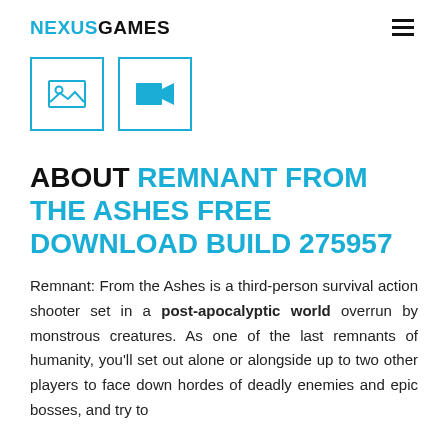NEXUSGAMES
[Figure (illustration): Two icon buttons: an image/photo icon and a video camera icon, both outlined in blue]
ABOUT REMNANT FROM THE ASHES FREE DOWNLOAD BUILD 275957
Remnant: From the Ashes is a third-person survival action shooter set in a post-apocalyptic world overrun by monstrous creatures. As one of the last remnants of humanity, you'll set out alone or alongside up to two other players to face down hordes of deadly enemies and epic bosses, and try to